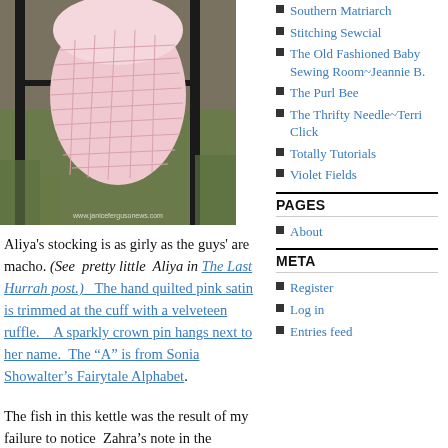[Figure (photo): A hand-quilted pink satin Christmas stocking displayed hanging on a metal railing outdoors, with grass and gravel in the background. Watermark: www.janicefergusonews.com]
Aliya's stocking is as girly as the guys' are macho. (See pretty little Aliya in The Last Hurrah post.)  The hand quilted pink satin is trimmed at the cuff with a velveteen ruffle.   A sparkly crown pin hangs next to her name.  The "A" is from Sonia Showalter's Fairytale Alphabet.
The fish in this kettle was the result of my failure to notice Zahra's note in the stocking
Southern Matriarch
Stitching Sewcial
The Old Fashioned Baby Sewing Room~Jeannie B.
The Purl Bee
The Thrifty Needle~Terri Click
Totally Tutorials
Violet Fields
PAGES
About
META
Register
Log in
Entries feed